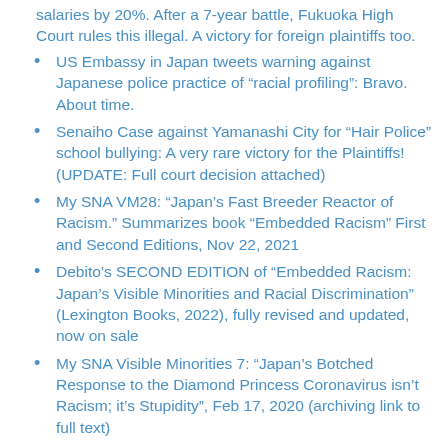salaries by 20%. After a 7-year battle, Fukuoka High Court rules this illegal. A victory for foreign plaintiffs too.
US Embassy in Japan tweets warning against Japanese police practice of “racial profiling”: Bravo. About time.
Senaiho Case against Yamanashi City for “Hair Police” school bullying: A very rare victory for the Plaintiffs! (UPDATE: Full court decision attached)
My SNA VM28: “Japan’s Fast Breeder Reactor of Racism.” Summarizes book “Embedded Racism” First and Second Editions, Nov 22, 2021
Debito’s SECOND EDITION of “Embedded Racism: Japan’s Visible Minorities and Racial Discrimination” (Lexington Books, 2022), fully revised and updated, now on sale
My SNA Visible Minorities 7: “Japan’s Botched Response to the Diamond Princess Coronavirus isn’t Racism; it’s Stupidity”, Feb 17, 2020 (archiving link to full text)
My SNA VM27: “The Bright Side of Japan’s ‘Culture of No’.” Surprise! Debito has something positive to say about Japan. Oct 18, 2021
DEBITO.ORG NEWSLETTER OCTOBER 18, 2021
Inundated with projects: Debito.org will be posting less frequently this autumn
My SNA Visible Minorities 26: “The ‘Inconceivable’ Racial…